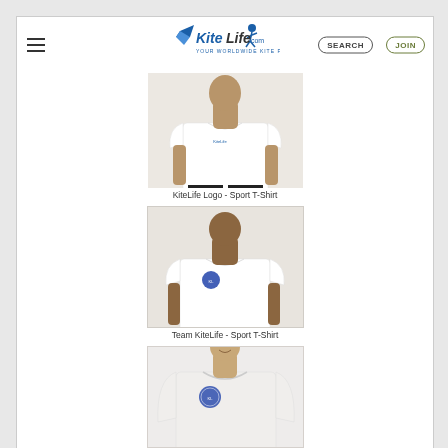KiteLife.com - Your Worldwide Kite Partner | SEARCH | JOIN
[Figure (photo): Man wearing white KiteLife Logo Sport T-Shirt]
KiteLife Logo - Sport T-Shirt
[Figure (photo): Man wearing white Team KiteLife Sport T-Shirt with blue circular logo on chest]
Team KiteLife - Sport T-Shirt
[Figure (photo): Man wearing white Team KiteLife long-sleeve sweatshirt with blue circular logo on chest]